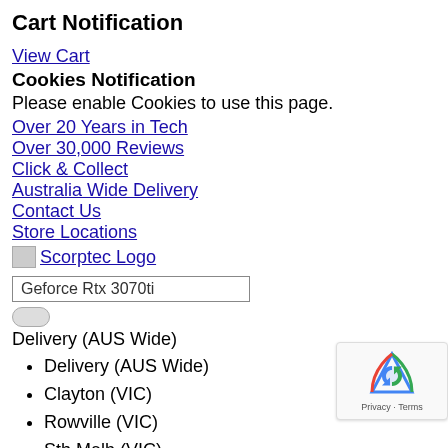Cart Notification
View Cart
Cookies Notification
Please enable Cookies to use this page.
Over 20 Years in Tech
Over 30,000 Reviews
Click & Collect
Australia Wide Delivery
Contact Us
Store Locations
[Figure (logo): Scorptec Logo image placeholder]
Geforce Rtx 3070ti
Delivery (AUS Wide)
Delivery (AUS Wide)
Clayton (VIC)
Rowville (VIC)
Sth Melb (VIC)
Auburn (NSW)
Macquire Park (NSW)
Login